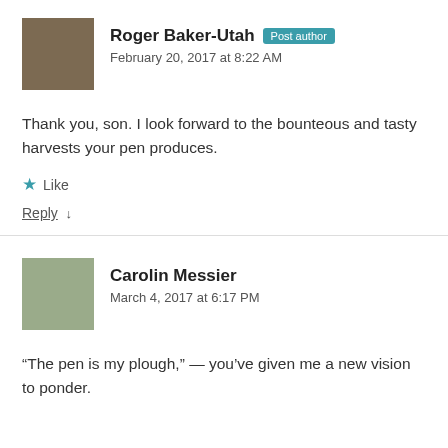Roger Baker-Utah  Post author
February 20, 2017 at 8:22 AM
Thank you, son. I look forward to the bounteous and tasty harvests your pen produces.
Like
Reply ↓
Carolin Messier
March 4, 2017 at 6:17 PM
“The pen is my plough,” — you’ve given me a new vision to ponder.